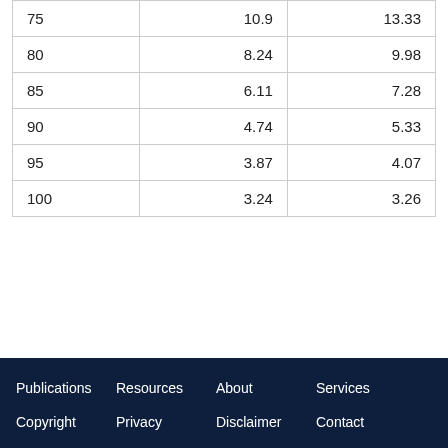| 75 | 10.9 | 13.33 |
| 80 | 8.24 | 9.98 |
| 85 | 6.11 | 7.28 |
| 90 | 4.74 | 5.33 |
| 95 | 3.87 | 4.07 |
| 100 | 3.24 | 3.26 |
Publications   Resources   About   Services   Copyright   Privacy   Disclaimer   Contact